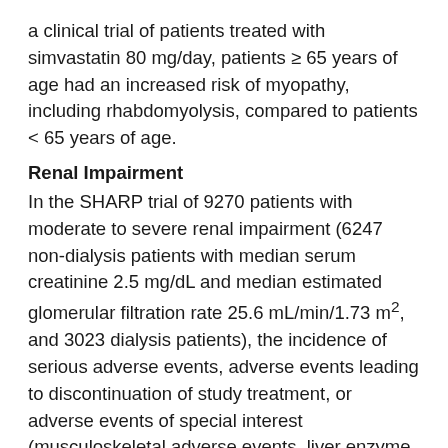a clinical trial of patients treated with simvastatin 80 mg/day, patients ≥ 65 years of age had an increased risk of myopathy, including rhabdomyolysis, compared to patients < 65 years of age.
Renal Impairment
In the SHARP trial of 9270 patients with moderate to severe renal impairment (6247 non-dialysis patients with median serum creatinine 2.5 mg/dL and median estimated glomerular filtration rate 25.6 mL/min/1.73 m², and 3023 dialysis patients), the incidence of serious adverse events, adverse events leading to discontinuation of study treatment, or adverse events of special interest (musculoskeletal adverse events, liver enzyme abnormalities, incident cancer) was similar